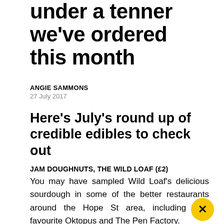under a tenner we've ordered this month
ANGIE SAMMONS
27 July 2017
Here's July's round up of credible edibles to check out
JAM DOUGHNUTS, THE WILD LOAF (£2)
You may have sampled Wild Loaf's delicious sourdough in some of the better restaurants around the Hope St area, including new favourite Oktopus and The Pen Factory.